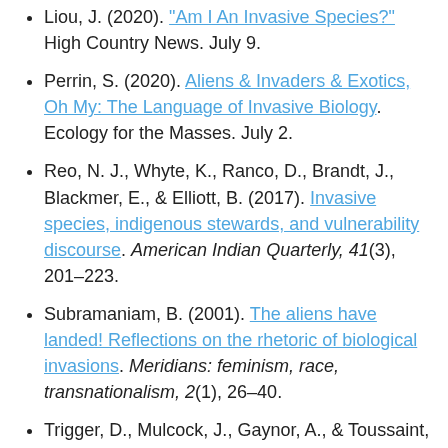Liou, J. (2020). "Am I An Invasive Species?" High Country News. July 9.
Perrin, S. (2020). Aliens & Invaders & Exotics, Oh My: The Language of Invasive Biology. Ecology for the Masses. July 2.
Reo, N. J., Whyte, K., Ranco, D., Brandt, J., Blackmer, E., & Elliott, B. (2017). Invasive species, indigenous stewards, and vulnerability discourse. American Indian Quarterly, 41(3), 201–223.
Subramaniam, B. (2001). The aliens have landed! Reflections on the rhetoric of biological invasions. Meridians: feminism, race, transnationalism, 2(1), 26–40.
Trigger, D., Mulcock, J., Gaynor, A., & Toussaint, Y. (2008). Ecological restoration, cultural...